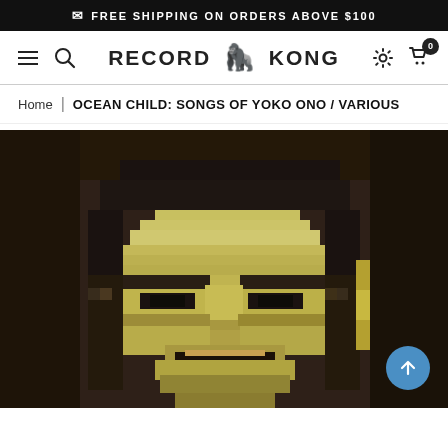FREE SHIPPING ON ORDERS ABOVE $100
[Figure (screenshot): Record Kong website navigation bar with hamburger menu, search icon, RECORD KONG logo with monkey emoji, settings icon, and shopping cart with badge showing 0]
Home | OCEAN CHILD: SONGS OF YOKO ONO / VARIOUS
[Figure (photo): Pixelated/low-resolution close-up photo of a person's face (Yoko Ono album cover art) against a dark brown background. The face shows Asian features with dark hair, rendered in a stylized pixelated manner with yellow-green highlights on the skin.]